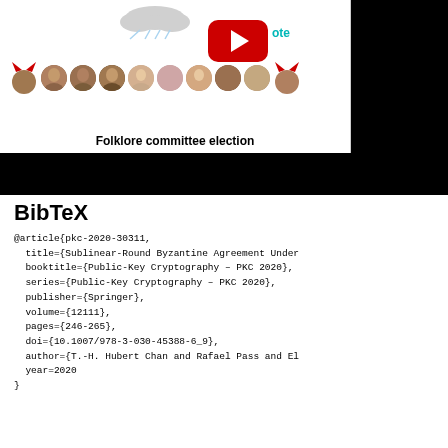[Figure (screenshot): Screenshot of a conference/academic webpage showing a video thumbnail with 'Folklore committee election' slide. The slide shows a row of speaker face photos, a YouTube-style play button, teal text partially visible ('M...ote'), and devil horn icons on the leftmost and rightmost faces. Below the white slide area is a black banner.]
BibTeX
@article{pkc-2020-30311,
  title={Sublinear-Round Byzantine Agreement Under
  booktitle={Public-Key Cryptography – PKC 2020},
  series={Public-Key Cryptography – PKC 2020},
  publisher={Springer},
  volume={12111},
  pages={246-265},
  doi={10.1007/978-3-030-45388-6_9},
  author={T.-H. Hubert Chan and Rafael Pass and El
  year=2020
}